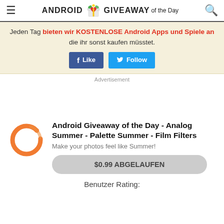ANDROID GIVEAWAY of the Day
Jeden Tag bieten wir KOSTENLOSE Android Apps und Spiele an die ihr sonst kaufen müsstet.
[Figure (screenshot): Facebook Like and Twitter Follow buttons]
Advertisement
[Figure (logo): Orange circle brush stroke app icon for Analog Summer - Palette Summer - Film Filters]
Android Giveaway of the Day - Analog Summer - Palette Summer - Film Filters
Make your photos feel like Summer!
$0.99 ABGELAUFEN
Benutzer Rating: